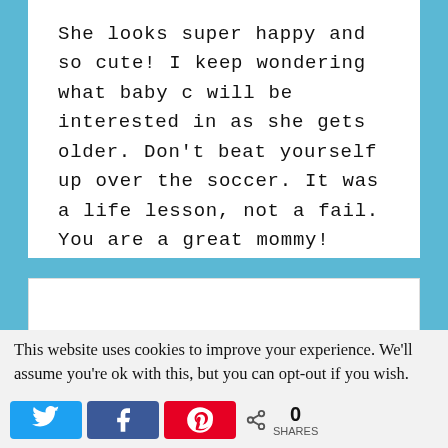She looks super happy and so cute! I keep wondering what baby c will be interested in as she gets older. Don't beat yourself up over the soccer. It was a life lesson, not a fail. You are a great mommy!
This website uses cookies to improve your experience. We'll assume you're ok with this, but you can opt-out if you wish.
0 SHARES